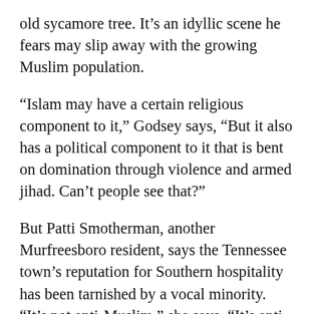old sycamore tree. It’s an idyllic scene he fears may slip away with the growing Muslim population.
“Islam may have a certain religious component to it,” Godsey says, “But it also has a political component to it that is bent on domination through violence and armed jihad. Can’t people see that?”
But Patti Smotherman, another Murfreesboro resident, says the Tennessee town’s reputation for Southern hospitality has been tarnished by a vocal minority. “It’s not anti-Muslim,” she says. “It’s anti-Murfreesboro to be so rude.”
Polls taken over the past few years show most residents are indifferent toward the new